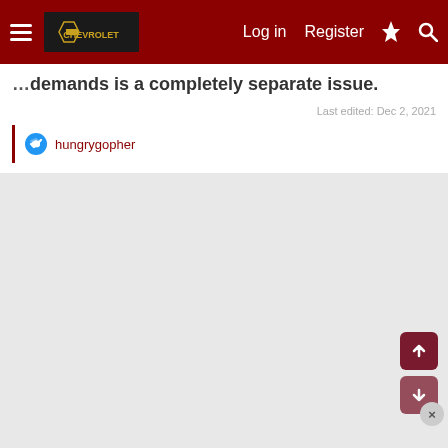Log in  Register
demands is a completely separate issue.
Last edited: Dec 2, 2021
hungrygopher